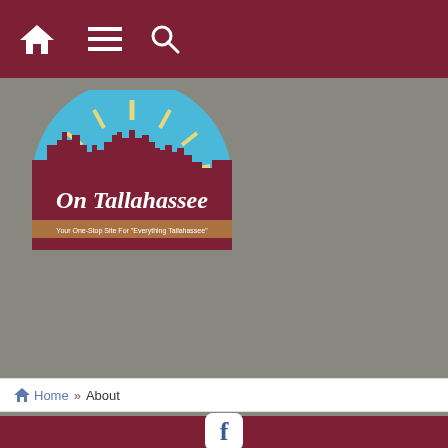[Figure (screenshot): Dark maroon navigation bar with home icon, hamburger menu icon, and search icon in white]
[Figure (logo): On Tallahassee logo - semicircular design with city skyline silhouette in maroon against blue sky with sunrays, script text 'On Tallahassee' below, tagline 'Your One-Stop Site For Everything Tallahassee']
[Figure (logo): ONMetro banner advertisement - 'A Network of More Than 400 Digital Cities Across The United States. Learn more about our rapidly growing network of local Media-Class Publishing Sites OnMetro.com']
Home » About
[Figure (logo): Facebook icon (white 'f' on dark background) centered in maroon bar at bottom]